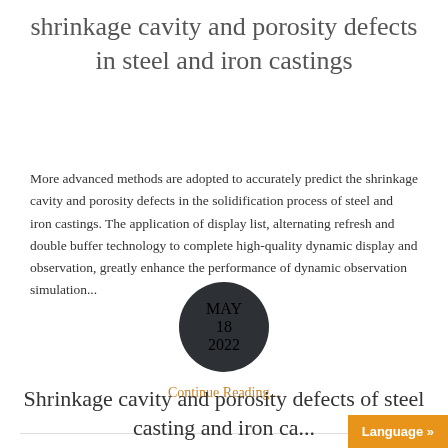shrinkage cavity and porosity defects in steel and iron castings
More advanced methods are adopted to accurately predict the shrinkage cavity and porosity defects in the solidification process of steel and iron castings. The application of display list, alternating refresh and double buffer technology to complete high-quality dynamic display and observation, greatly enhance the performance of dynamic observation simulation...
Continue Reading...
[Figure (other): Dark circular date badge showing MAY 18 2022]
Shrinkage cavity and porosity defects of steel casting and iron ca...